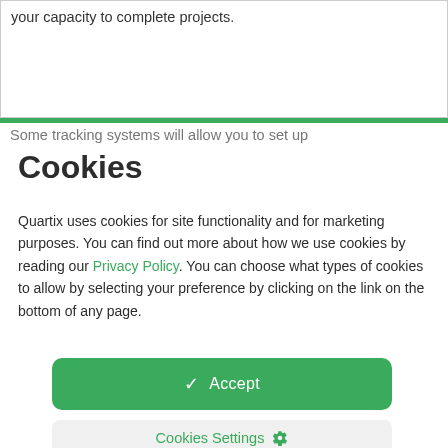…sector. Keeping your fleet on the road will increase your capacity to complete projects.
Some tracking systems will allow you to set up
Cookies
Quartix uses cookies for site functionality and for marketing purposes. You can find out more about how we use cookies by reading our Privacy Policy. You can choose what types of cookies to allow by selecting your preference by clicking on the link on the bottom of any page.
✓ Accept
Cookies Settings ⚙